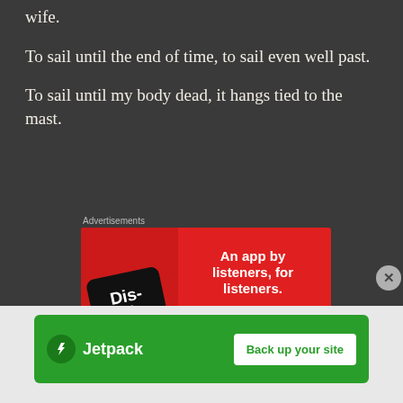wife.
To sail until the end of time, to sail even well past.
To sail until my body dead, it hangs tied to the mast.
Advertisements
[Figure (infographic): Red advertisement banner for a podcast app showing a smartphone with 'Distributed' text and the tagline 'An app by listeners, for listeners.' with a Download now button.]
[Figure (infographic): Green Jetpack banner advertisement with Jetpack logo and 'Back up your site' button.]